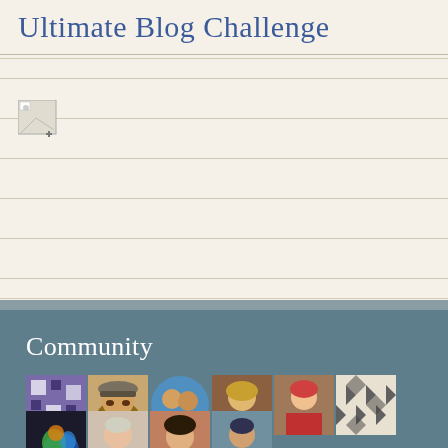Ultimate Blog Challenge
[Figure (illustration): Broken image icon placeholder]
[Figure (photo): Community section with teal/slate background showing the word 'Community' in white serif font and a grid of 10 avatar/profile photos arranged in two rows]